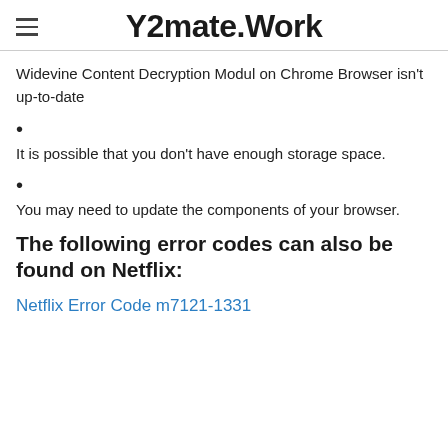Y2mate.Work
Widevine Content Decryption Modul on Chrome Browser isn't up-to-date
It is possible that you don't have enough storage space.
You may need to update the components of your browser.
The following error codes can also be found on Netflix:
Netflix Error Code m7121-1331